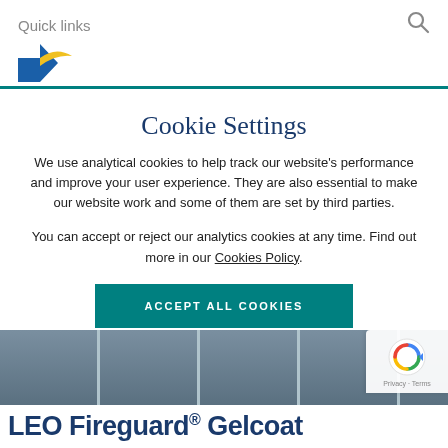Quick links
[Figure (logo): Company logo with blue arrow and yellow sun/wing shape]
Cookie Settings
We use analytical cookies to help track our website's performance and improve your user experience. They are also essential to make our website work and some of them are set by third parties.
You can accept or reject our analytics cookies at any time. Find out more in our Cookies Policy.
ACCEPT ALL COOKIES
[Figure (photo): Background image showing blue-grey panels at bottom of page]
LEO Fireguard® Gelcoat